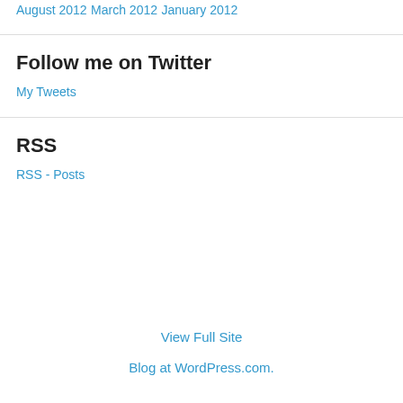August 2012
March 2012
January 2012
Follow me on Twitter
My Tweets
RSS
RSS - Posts
View Full Site
Blog at WordPress.com.